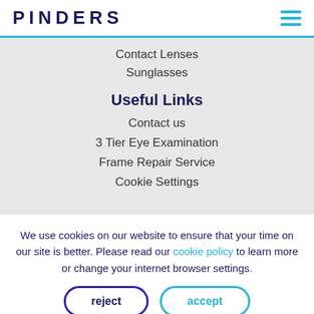PINDERS
Contact Lenses
Sunglasses
Useful Links
Contact us
3 Tier Eye Examination
Frame Repair Service
Cookie Settings
We use cookies on our website to ensure that your time on our site is better. Please read our cookie policy to learn more or change your internet browser settings.
reject
accept